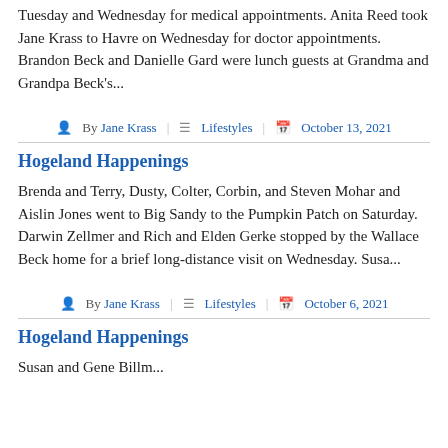Susan and Gene Billmayer were in Great Falls Tuesday and Wednesday for medical appointments. Anita Reed took Jane Krass to Havre on Wednesday for doctor appointments. Brandon Beck and Danielle Gard were lunch guests at Grandma and Grandpa Beck's...
By Jane Krass | Lifestyles | October 13, 2021
Hogeland Happenings
Brenda and Terry, Dusty, Colter, Corbin, and Steven Mohar and Aislin Jones went to Big Sandy to the Pumpkin Patch on Saturday. Darwin Zellmer and Rich and Elden Gerke stopped by the Wallace Beck home for a brief long-distance visit on Wednesday. Susa...
By Jane Krass | Lifestyles | October 6, 2021
Hogeland Happenings
Susan and Gene Billm...